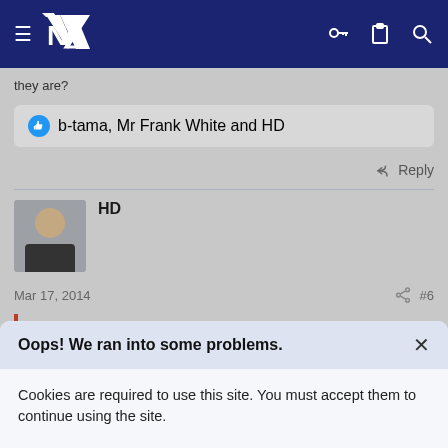[Figure (screenshot): Navigation bar with hamburger menu, NZ logo, key icon, clipboard icon, and search icon on dark navy background]
they are?
b-tama, Mr Frank White and HD
Reply
HD
Mar 17, 2014
#6
Oops! We ran into some problems.
Cookies are required to use this site. You must accept them to continue using the site.